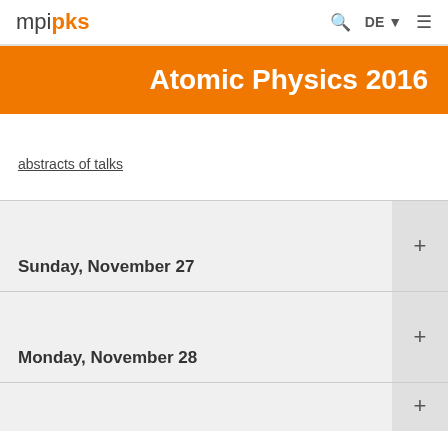mpipks | Q | DE | ≡
Atomic Physics 2016
abstracts of talks
Sunday, November 27
Monday, November 28